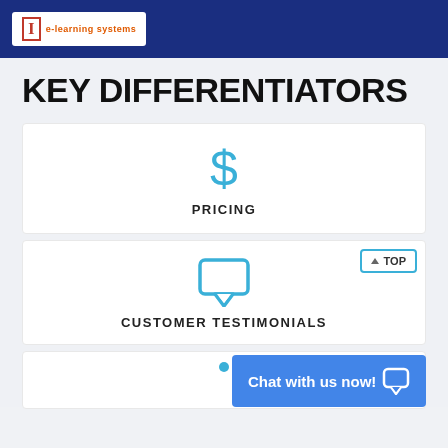e-learning systems
KEY DIFFERENTIATORS
[Figure (infographic): Dollar sign icon in blue above the label PRICING]
PRICING
[Figure (infographic): Chat bubble icon in blue outline above the label CUSTOMER TESTIMONIALS, with a TOP button in upper right]
CUSTOMER TESTIMONIALS
[Figure (infographic): Partial third card with a blue dot at top, overlaid by a blue Chat with us now! bar]
Chat with us now!